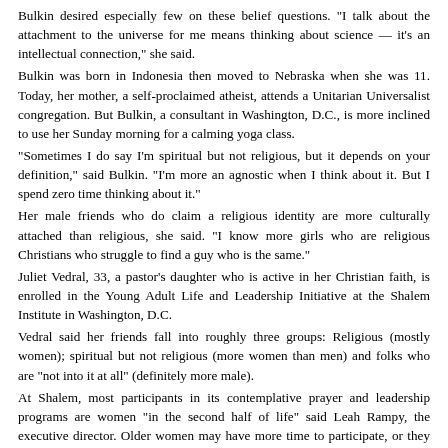Bulkin desired especially few on these belief questions. "I talk about the attachment to the universe for me means thinking about science — it's an intellectual connection," she said.
Bulkin was born in Indonesia then moved to Nebraska when she was 11. Today, her mother, a self-proclaimed atheist, attends a Unitarian Universalist congregation. But Bulkin, a consultant in Washington, D.C., is more inclined to use her Sunday morning for a calming yoga class.
“Sometimes I do say I’m spiritual but not religious, but it depends on your definition,” said Bulkin. “I’m more an agnostic when I think about it. But I spend zero time thinking about it.”
Her male friends who do claim a religious identity are more culturally attached than religious, she said. “I know more girls who are religious Christians who struggle to find a guy who is the same.”
Juliet Vedral, 33, a pastor’s daughter who is active in her Christian faith, is enrolled in the Young Adult Life and Leadership Initiative at the Shalem Institute in Washington, D.C.
Vedral said her friends fall into roughly three groups: Religious (mostly women); spiritual but not religious (more women than men) and folks who are “not into it at all” (definitely more male).
At Shalem, most participants in its contemplative prayer and leadership programs are women “in the second half of life” said Leah Rampy, the executive director. Older women may have more time to participate, or they may be more willing to be part of institutional religion.
“Young people want their spirituality to be very personal, not corporate. It might be yoga or mindfulness or chanting but it has to be authentic and it has to work for them,” said Rampy.
This may be in part because “young men and young women are experiencing the world with less difference between their lives in the